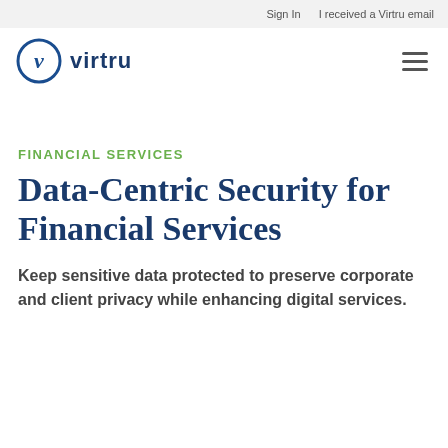Sign In    I received a Virtru email
[Figure (logo): Virtru logo: circular icon with stylized 'v' and the word 'virtru' in dark blue, with hamburger menu icon on right]
FINANCIAL SERVICES
Data-Centric Security for Financial Services
Keep sensitive data protected to preserve corporate and client privacy while enhancing digital services.